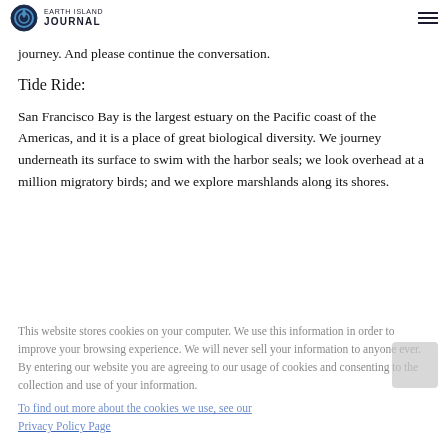Earth Island Journal
journey. And please continue the conversation.
Tide Ride:
San Francisco Bay is the largest estuary on the Pacific coast of the Americas, and it is a place of great biological diversity. We journey underneath its surface to swim with the harbor seals; we look overhead at a million migratory birds; and we explore marshlands along its shores.
This website stores cookies on your computer. We use this information in order to improve your browsing experience. We will never sell your information to anyone ever. By entering our website you are agreeing to our usage of cookies and consenting to the collection and use of your information.
To find out more about the cookies we use, see our Privacy Policy Page